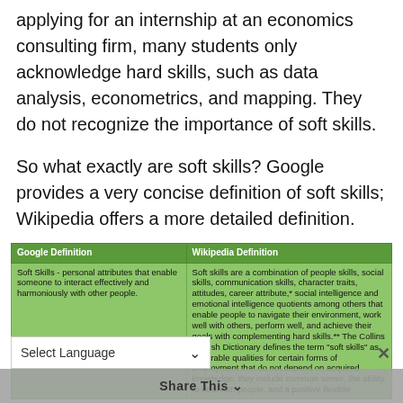applying for an internship at an economics consulting firm, many students only acknowledge hard skills, such as data analysis, econometrics, and mapping. They do not recognize the importance of soft skills.
So what exactly are soft skills? Google provides a very concise definition of soft skills; Wikipedia offers a more detailed definition.
| Google Definition | Wikipedia Definition |
| --- | --- |
| Soft Skills - personal attributes that enable someone to interact effectively and harmoniously with other people. | Soft skills are a combination of people skills, social skills, communication skills, character traits, attitudes, career attribute,* social intelligence and emotional intelligence quotients among others that enable people to navigate their environment, work well with others, perform well, and achieve their goals with complementing hard skills.** The Collins English Dictionary defines the term "soft skills" as "desirable qualities for certain forms of employment that do not depend on acquired knowledge; they include common sense, the ability to deal with people, and a positive flexible |